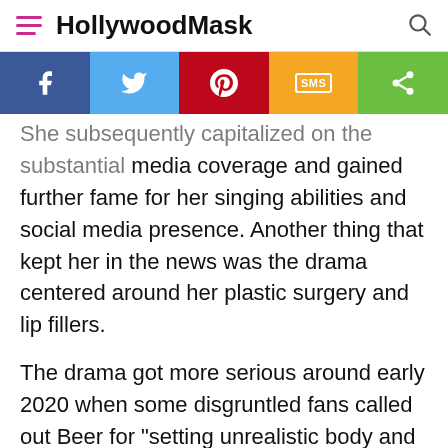HollywoodMask
[Figure (other): Social share bar with Facebook, Twitter, Pinterest, SMS, and Share buttons]
She subsequently capitalized on the substantial media coverage and gained further fame for her singing abilities and social media presence. Another thing that kept her in the news was the drama centered around her plastic surgery and lip fillers.
The drama got more serious around early 2020 when some disgruntled fans called out Beer for "setting unrealistic body and face standards for young women" while allegedly having cosmetic